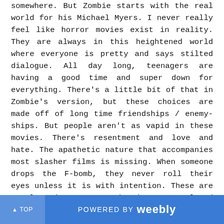somewhere. But Zombie starts with the real world for his Michael Myers. I never really feel like horror movies exist in reality. They are always in this heightened world where everyone is pretty and says stilted dialogue. All day long, teenagers are having a good time and super down for everything. There's a little bit of that in Zombie's version, but these choices are made off of long time friendships / enemy-ships. But people aren't as vapid in these movies. There's resentment and love and hate. The apathetic nature that accompanies most slasher films is missing. When someone drops the F-bomb, they never roll their eyes unless it is with intention. These are complex characters. Deborah Myers, played by Sheri Moon Zombie in her most nuanced role yet, is a paradox. She is angry and spiteful. She is a stripper who lives with an abusive maniac. Her entire family is brutally slaughtered by her son. But she still loves her son. God, there's not a moment where I don't see that in her performance. She wants to bring her son home. She's not scared by him for a moment and that probably
▲ TOP   POWERED BY weebly